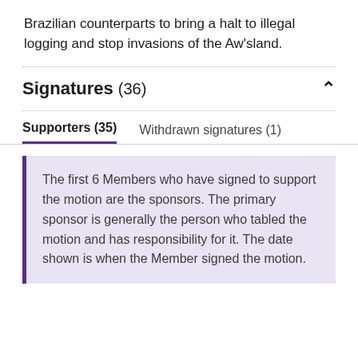Brazilian counterparts to bring a halt to illegal logging and stop invasions of the Aw'sland.
Signatures (36)
Supporters (35)   Withdrawn signatures (1)
The first 6 Members who have signed to support the motion are the sponsors. The primary sponsor is generally the person who tabled the motion and has responsibility for it. The date shown is when the Member signed the motion.